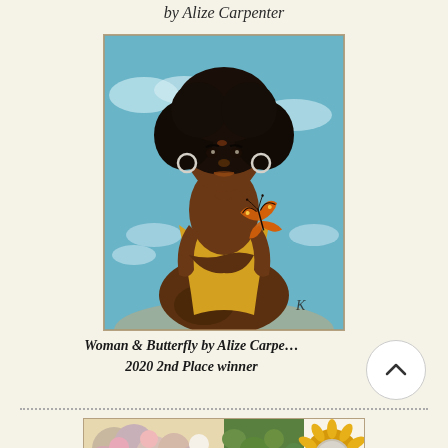by Alize Carpenter
[Figure (illustration): Painting of a Black woman in a yellow dress with a monarch butterfly on her shoulder, set against a blue sky background with clouds]
Woman & Butterfly by Alize Carpenter 2020 2nd Place winner
[Figure (photo): Partial view of a second artwork showing flowers and decorative elements]